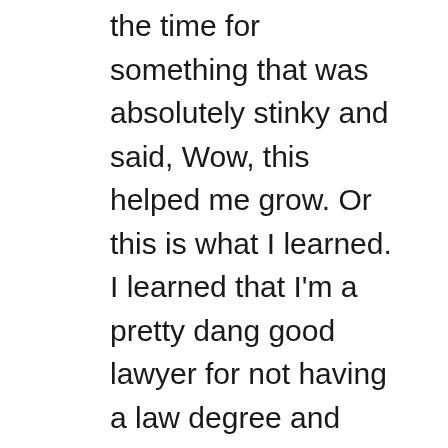the time for something that was absolutely stinky and said, Wow, this helped me grow. Or this is what I learned. I learned that I'm a pretty dang good lawyer for not having a law degree and never having gone to law school. Brick by Brick, I took it apart I didn't win. But that's not that's not the thing to focus on. Because you know, we've talked about injustice doesn't always happen. I learned that I like as hard as it was I like standing up for myself better than being passive aggressive.
I've grown because I didn't choose the passive aggressive route. I've grown because I've learned let a lot of it not all of it. I'm a work in